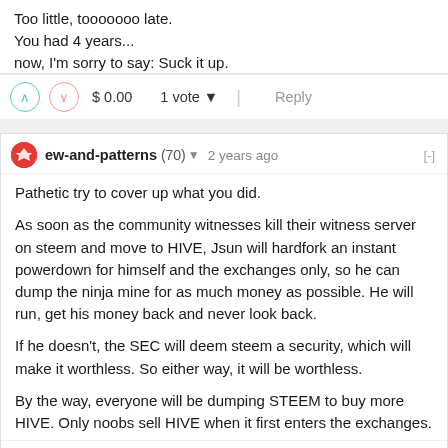Too little, tooooooo late.
You had 4 years...
now, I'm sorry to say: Suck it up.
$ 0.00    1 vote    Reply
ew-and-patterns (70) 2 years ago
Pathetic try to cover up what you did.

As soon as the community witnesses kill their witness server on steem and move to HIVE, Jsun will hardfork an instant powerdown for himself and the exchanges only, so he can dump the ninja mine for as much money as possible. He will run, get his money back and never look back.

If he doesn't, the SEC will deem steem a security, which will make it worthless. So either way, it will be worthless.

By the way, everyone will be dumping STEEM to buy more HIVE. Only noobs sell HIVE when it first enters the exchanges.
$ 0.00    1 vote    Reply
bil.prag (68) 2 years ago
we did add the ability to hide posts that violated the terms of condition of steemit.com.